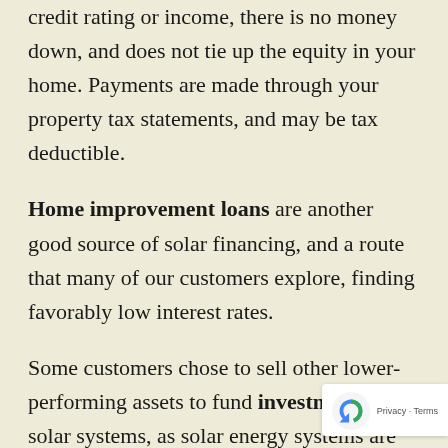credit rating or income, there is no money down, and does not tie up the equity in your home. Payments are made through your property tax statements, and may be tax deductible.
Home improvement loans are another good source of solar financing, and a route that many of our customers explore, finding favorably low interest rates.
Some customers chose to sell other lower-performing assets to fund investment in solar systems, as solar energy systems are show to have a strong return on investment.  As one customer told us: “Hands down, it’s the